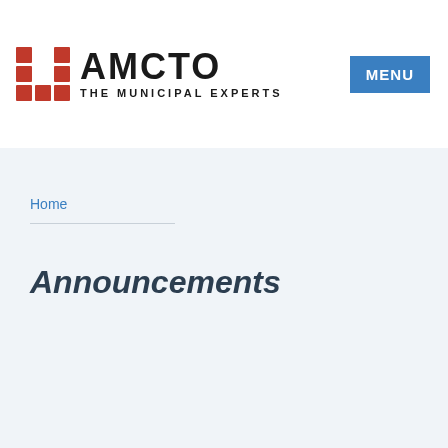[Figure (logo): AMCTO logo with red grid icon and text AMCTO THE MUNICIPAL EXPERTS]
MENU
Home
Announcements